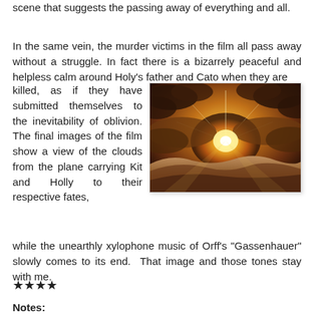scene that suggests the passing away of everything and all.
In the same vein, the murder victims in the film all pass away without a struggle. In fact there is a bizarrely peaceful and helpless calm around Holy's father and Cato when they are killed, as if they have submitted themselves to the inevitability of oblivion. The final images of the film show a view of the clouds from the plane carrying Kit and Holly to their respective fates, while the unearthly xylophone music of Orff's "Gassenhauer" slowly comes to its end. That image and those tones stay with me.
[Figure (photo): A dramatic sunset or sunrise photograph showing clouds illuminated in golden and orange tones, viewed from above or at cloud level, with rays of light breaking through.]
★★★★
Notes: